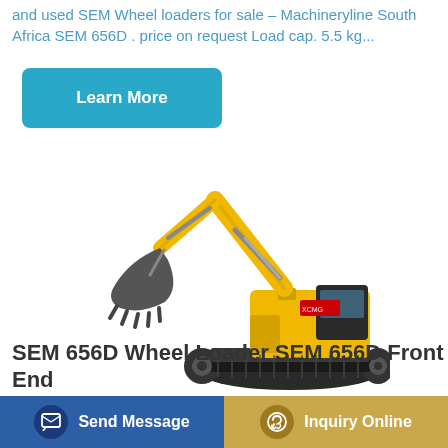and used SEM Wheel loaders for sale - Machineryline South Africa SEM 656D . price on request Load cap. 5.5 kg...
[Figure (other): Learn More button - teal/cyan rounded rectangle button with white text]
[Figure (photo): Yellow XCMG tracked excavator with large bucket arm extended, on white background]
SEM 656D Wheel Loader SEM 656D Front End
[Figure (other): Footer bar with two buttons: left dark blue 'Send Message' button with message icon, right golden/tan 'Inquiry Online' button with headset icon]